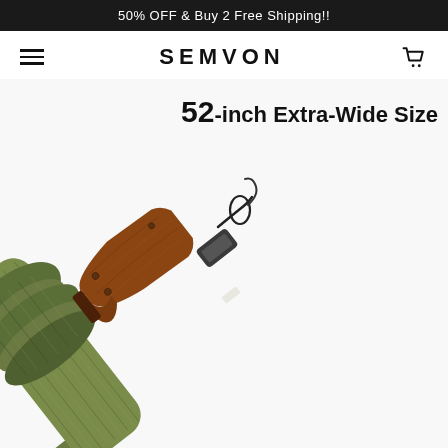50% OFF & Buy 2 Free Shipping!!
SEMVON
52-inch Extra-Wide Size
[Figure (photo): A rifle with a wooden stock being inserted into or covered by a green knit/silicone gun sock/sleeve. The sleeve is olive/camouflage green with a textured knit pattern. A drawstring cord is visible near the action area. The background is white.]